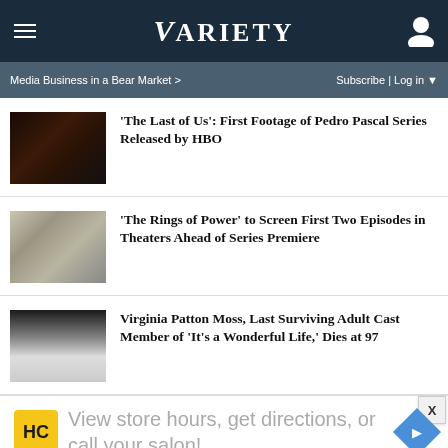VARIETY
Media Business in a Bear Market >
Subscribe | Log in
'The Last of Us': First Footage of Pedro Pascal Series Released by HBO
'The Rings of Power' to Screen First Two Episodes in Theaters Ahead of Series Premiere
Virginia Patton Moss, Last Surviving Adult Cast Member of 'It's a Wonderful Life,' Dies at 97
[Figure (other): Advertisement: View store hours, get directions, or call your salon!]